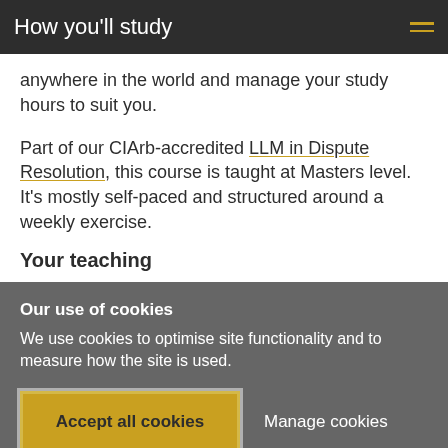How you'll study
anywhere in the world and manage your study hours to suit you.
Part of our CIArb-accredited LLM in Dispute Resolution, this course is taught at Masters level. It's mostly self-paced and structured around a weekly exercise.
Your teaching
Our use of cookies
We use cookies to optimise site functionality and to measure how the site is used.
Accept all cookies
Manage cookies